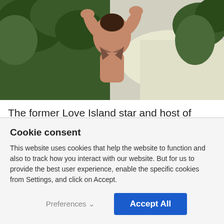[Figure (photo): Woman in brown bikini top with hands behind head, standing in front of tropical greenery and white sandy path]
The former Love Island star and host of Glow Up Ireland turned 31 yesterday and you need to see how she spent her day.
Cookie consent
This website uses cookies that help the website to function and also to track how you interact with our website. But for us to provide the best user experience, enable the specific cookies from Settings, and click on Accept.